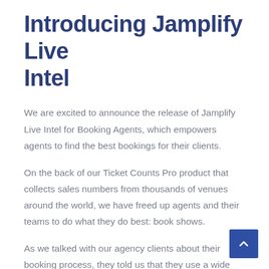Introducing Jamplify Live Intel
We are excited to announce the release of Jamplify Live Intel for Booking Agents, which empowers agents to find the best bookings for their clients.
On the back of our Ticket Counts Pro product that collects sales numbers from thousands of venues around the world, we have freed up agents and their teams to do what they do best: book shows.
As we talked with our agency clients about their booking process, they told us that they use a wide range of databases and tools to source opportunities. For example, some scour Songkick to look at similar artist routings and, beset more recent data of